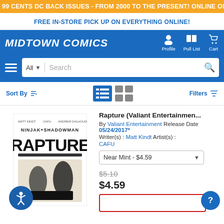99 CENTS DC BACK ISSUES - FROM 2000 TO THE PRESENT! ONLINE ONLY, TODAY ONLY!
FREE IN-STORE PICK UP ON EVERYTHING ONLINE!
[Figure (logo): Midtowm Comics logo with navigation icons for Profile, Pull List, and Cart]
[Figure (screenshot): Search bar with All dropdown and Search input]
Sort By
Filters
[Figure (illustration): Ninjak + Shadowman RAPTURE comic book cover]
Rapture (Valiant Entertainmen...
By Valiant Entertainment Release Date 05/24/2017*
Writer(s) : Matt Kindt Artist(s) : CAFU
Near Mint - $4.59
$5.10
$4.59